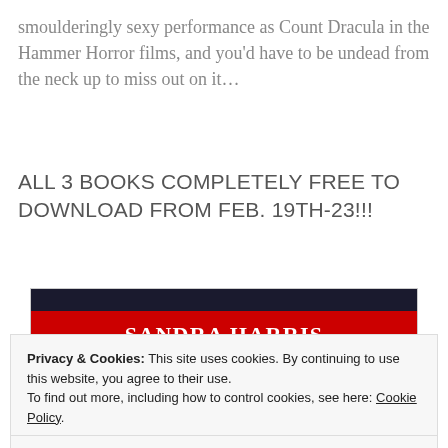smoulderingly sexy performance as Count Dracula in the Hammer Horror films, and you'd have to be undead from the neck up to miss out on it…
ALL 3 BOOKS COMPLETELY FREE TO DOWNLOAD FROM FEB. 19TH-23!!!
[Figure (illustration): Book cover for Sandra Harris showing a red banner with white text 'SANDRA HARRIS' on a dark background with dark flowing hair below]
Privacy & Cookies: This site uses cookies. By continuing to use this website, you agree to their use.
To find out more, including how to control cookies, see here: Cookie Policy
Close and accept